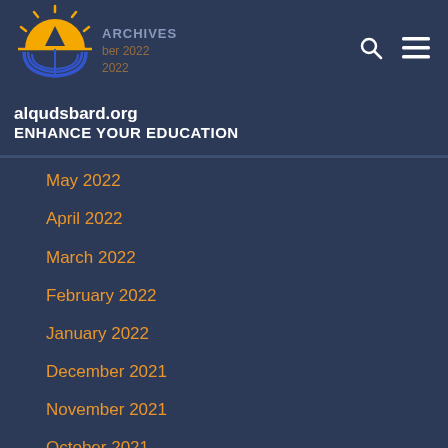ARCHIVES
[Figure (logo): Sun/book/mountain logo for alqudsbard.org in orange, yellow and blue]
alqudsbard.org
ENHANCE YOUR EDUCATION
May 2022
April 2022
March 2022
February 2022
January 2022
December 2021
November 2021
October 2021
September 2021
August 2021
July 2021